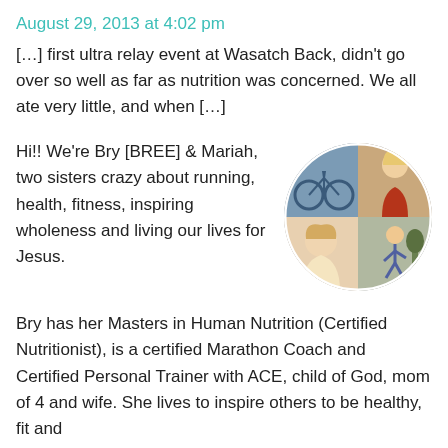August 29, 2013 at 4:02 pm
[…] first ultra relay event at Wasatch Back, didn't go over so well as far as nutrition was concerned. We all ate very little, and when […]
Hi!! We're Bry [BREE] & Mariah, two sisters crazy about running, health, fitness, inspiring wholeness and living our lives for Jesus.
[Figure (photo): Circular collage of four photos: top-left shows a cyclist, top-right shows a blonde woman in red, bottom-left shows a blonde woman smiling, bottom-right shows a woman running.]
Bry has her Masters in Human Nutrition (Certified Nutritionist), is a certified Marathon Coach and Certified Personal Trainer with ACE, child of God, mom of 4 and wife. She lives to inspire others to be healthy, fit and